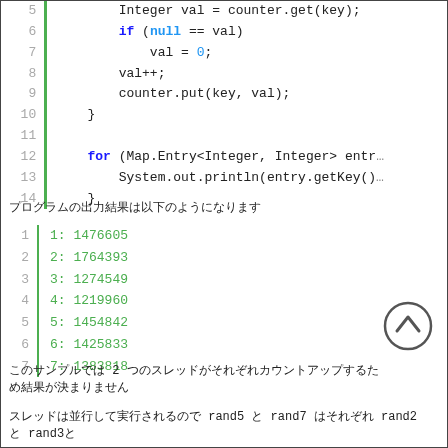[Figure (screenshot): Code snippet showing Java lines 5-14 with syntax highlighting. Lines show counter.get(key), if (null == val), val = 0, val++, counter.put(key, val), closing brace, blank, for (Map.Entry<Integer, Integer> entry..., System.out.println(entry.getKey()..., closing brace.]
プログラムの出力結果は以下のようになります
[Figure (screenshot): Output block lines 1-7 showing: 1: 1476605, 2: 1764393, 3: 1274549, 4: 1219960, 5: 1454842, 6: 1425833, 7: 1383818]
このサンプルでは 2 つのスレッドがそれぞれカウントアップするため結果が決まりません
スレッドは並行して実行されるので rand5 と rand7 はそれぞれ rand2 と rand3と